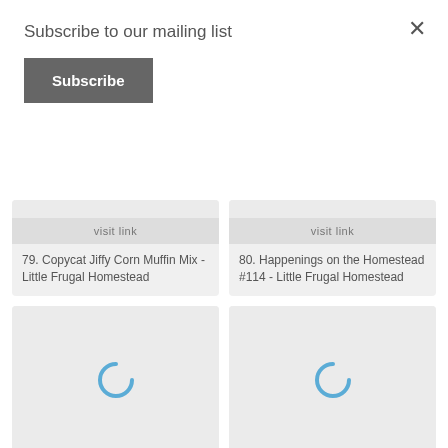Subscribe to our mailing list
Subscribe
visit link
79. Copycat Jiffy Corn Muffin Mix - Little Frugal Homestead
visit link
80. Happenings on the Homestead #114 - Little Frugal Homestead
[Figure (other): Loading spinner icon (blue arc)]
visit link
81. 5 Ideas For Tiered Cosmetic
[Figure (other): Loading spinner icon (blue arc)]
visit link
82. Lost Explorer - Escape